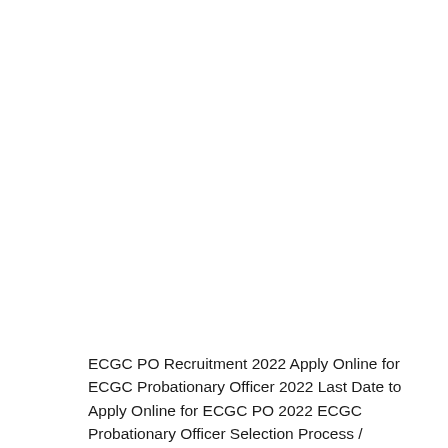ECGC PO Recruitment 2022 Apply Online for ECGC Probationary Officer 2022 Last Date to Apply Online for ECGC PO 2022 ECGC Probationary Officer Selection Process / Education Qualification 2022 ECGC PO Age limit